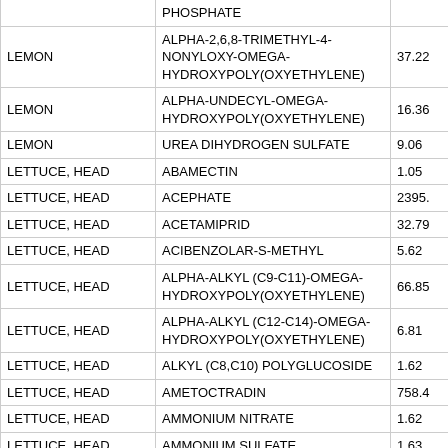| Commodity | Chemical | Value |
| --- | --- | --- |
|  | PHOSPHATE |  |
| LEMON | ALPHA-2,6,8-TRIMETHYL-4-NONYLOXY-OMEGA-HYDROXYPOLY(OXYETHYLENE) | 37.22 |
| LEMON | ALPHA-UNDECYL-OMEGA-HYDROXYPOLY(OXYETHYLENE) | 16.36 |
| LEMON | UREA DIHYDROGEN SULFATE | 9.06 |
| LETTUCE, HEAD | ABAMECTIN | 1.05 |
| LETTUCE, HEAD | ACEPHATE | 2395. |
| LETTUCE, HEAD | ACETAMIPRID | 32.79 |
| LETTUCE, HEAD | ACIBENZOLAR-S-METHYL | 5.62 |
| LETTUCE, HEAD | ALPHA-ALKYL (C9-C11)-OMEGA-HYDROXYPOLY(OXYETHYLENE) | 66.85 |
| LETTUCE, HEAD | ALPHA-ALKYL (C12-C14)-OMEGA-HYDROXYPOLY(OXYETHYLENE) | 6.81 |
| LETTUCE, HEAD | ALKYL (C8,C10) POLYGLUCOSIDE | 1.62 |
| LETTUCE, HEAD | AMETOCTRADIN | 758.4 |
| LETTUCE, HEAD | AMMONIUM NITRATE | 1.62 |
| LETTUCE, HEAD | AMMONIUM SULFATE | 1.63 |
| LETTUCE, HEAD | AZADIRACHTIN | 0.22 |
| LETTUCE, HEAD | AZOXYSTROBIN | 5.11 |